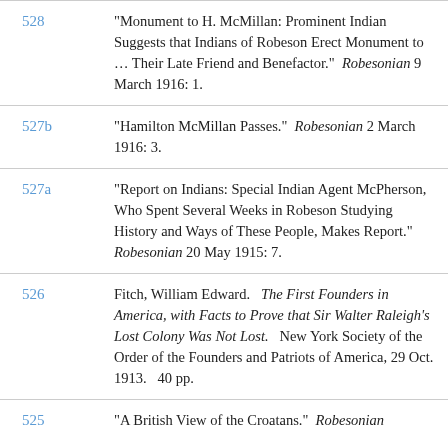| ID | Reference |
| --- | --- |
| 528 | “Monument to H. McMillan: Prominent Indian Suggests that Indians of Robeson Erect Monument to … Their Late Friend and Benefactor.” Robesonian 9 March 1916: 1. |
| 527b | “Hamilton McMillan Passes.” Robesonian 2 March 1916: 3. |
| 527a | “Report on Indians: Special Indian Agent McPherson, Who Spent Several Weeks in Robeson Studying History and Ways of These People, Makes Report.” Robesonian 20 May 1915: 7. |
| 526 | Fitch, William Edward. The First Founders in America, with Facts to Prove that Sir Walter Raleigh’s Lost Colony Was Not Lost. New York Society of the Order of the Founders and Patriots of America, 29 Oct. 1913. 40 pp. |
| 525 | “A British View of the Croatans.” Robesonian |